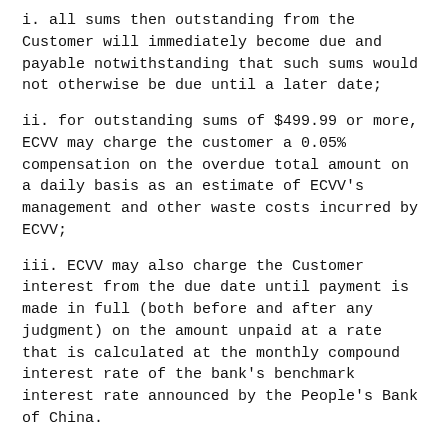i. all sums then outstanding from the Customer will immediately become due and payable notwithstanding that such sums would not otherwise be due until a later date;
ii. for outstanding sums of $499.99 or more, ECVV may charge the customer a 0.05% compensation on the overdue total amount on a daily basis as an estimate of ECVV's management and other waste costs incurred by ECVV;
iii. ECVV may also charge the Customer interest from the due date until payment is made in full (both before and after any judgment) on the amount unpaid at a rate that is calculated at the monthly compound interest rate of the bank's benchmark interest rate announced by the People's Bank of China.
7. Risk and Ownership
7.1 In the case of products to be delivered to the Customer's property, risk of loss of or damage to the products shall pass to the Customer on delivery, unless the Customer wrongfully fails to take delivery of the products, in which case such risk shall pass to the Customer at the time when ECVV has attempted to deliver the products. In the case of products that the Customer orders